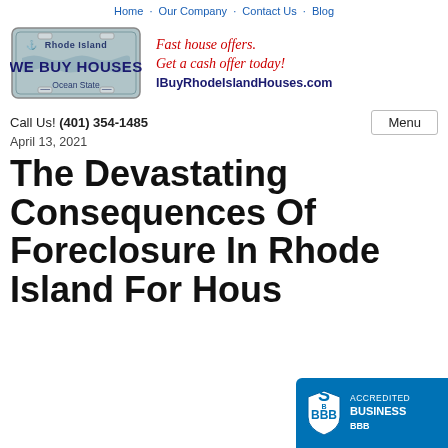Home   Our Company   Contact Us   Blog
[Figure (logo): Rhode Island We Buy Houses license plate logo with anchor icon and Ocean State text, alongside red italic script tagline 'Fast house offers. Get a cash offer today!' and bold navy text 'IBuyRhodeIslandHouses.com']
Call Us! (401) 354-1485
The Devastating Consequences Of Foreclosure In Rhode Island For House Sellers
April 13, 2021
[Figure (logo): BBB Accredited Business badge in blue with BBB shield logo]